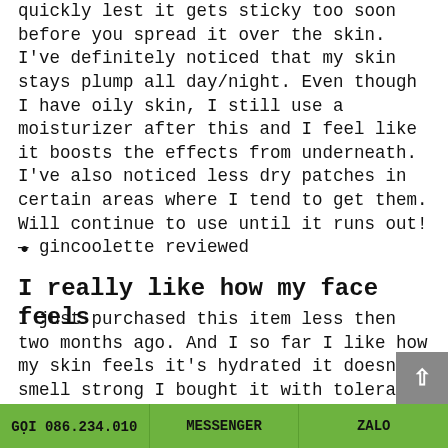quickly lest it gets sticky too soon before you spread it over the skin. I've definitely noticed that my skin stays plump all day/night. Even though I have oily skin, I still use a moisturizer after this and I feel like it boosts the effects from underneath. I've also noticed less dry patches in certain areas where I tend to get them. Will continue to use until it runs out! — gincoolette reviewed
•
I really like how my face feels
I just purchased this item less then two months ago. And I so far I like how my skin feels it's hydrated it doesn't smell strong I bought it with tolerance sensitive fluids and hydrating cleanser. I used both
GỌI 086.234.010   MESSENGER   ZALO